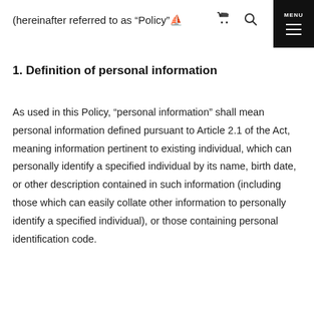(hereinafter referred to as “Policy”
1. Definition of personal information
As used in this Policy, “personal information” shall mean personal information defined pursuant to Article 2.1 of the Act, meaning information pertinent to existing individual, which can personally identify a specified individual by its name, birth date, or other description contained in such information (including those which can easily collate other information to personally identify a specified individual), or those containing personal identification code.